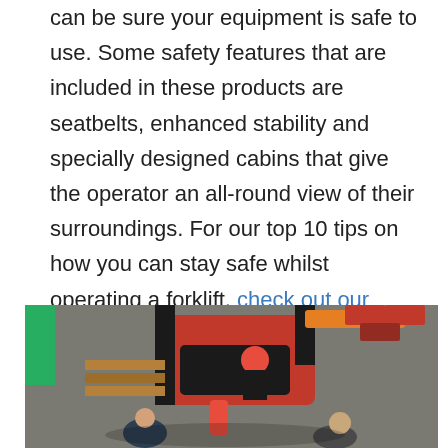can be sure your equipment is safe to use. Some safety features that are included in these products are seatbelts, enhanced stability and specially designed cabins that give the operator an all-round view of their surroundings. For our top 10 tips on how you can stay safe whilst operating a forklift, check out our previous article here.
[Figure (photo): Aerial view of workers gathered around a red forklift in a warehouse, one operator wearing a red hard hat seated on the forklift while others stand nearby with clipboards.]